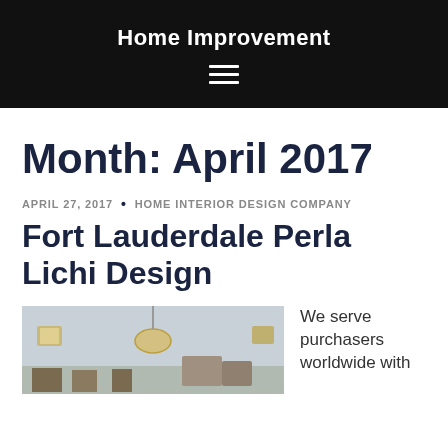Home Improvement
Month: April 2017
APRIL 27, 2017 • HOME INTERIOR DESIGN COMPANY
Fort Lauderdale Perla Lichi Design
[Figure (photo): Interior room photo showing a dining/living space with pendant light and wall decorations]
We serve purchasers worldwide with